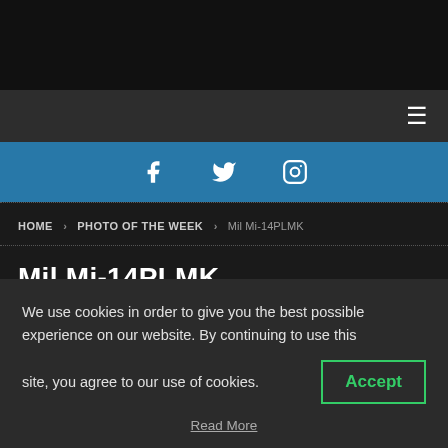[Figure (screenshot): Top black banner area of website]
Navigation bar with hamburger menu icon
[Figure (screenshot): Social media bar with Facebook, Twitter, Instagram icons on blue background]
HOME > PHOTO OF THE WEEK > Mil Mi-14PLMK
Mil Mi-14PLMK
7th May 2019  Kaspar Kalimakhin (partial, cut off)
We use cookies in order to give you the best possible experience on our website. By continuing to use this site, you agree to our use of cookies.
Accept
Read More